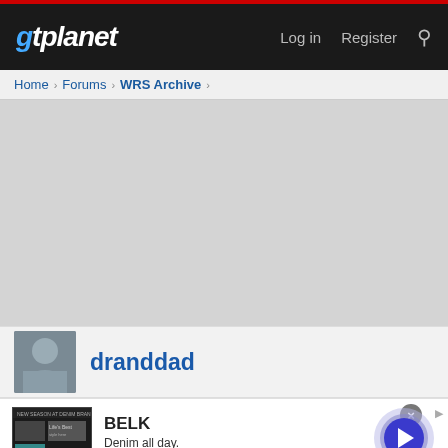gtplanet — Log in  Register
Home > Forums > WRS Archive >
[Figure (other): Gray placeholder content area, approximately 250px tall]
dranddad
[Figure (other): Advertisement banner: BELK — Denim all day. www.belk.com]